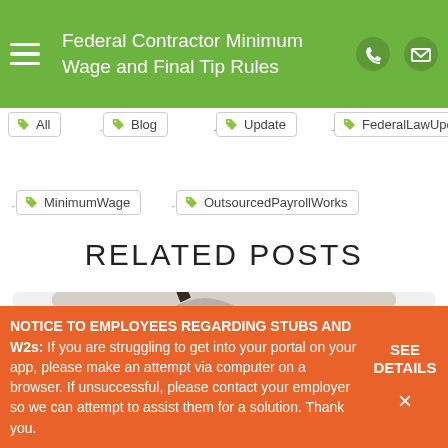Federal Contractor Minimum Wage and Final Tip Rules
All
Blog
Update
FederalLawUpdate
MinimumWage
OutsourcedPayrollWorks
RELATED POSTS
[Figure (photo): Woman looking down, working, in a kitchen/office setting]
NOTICE TO EMPLOYEES REGARDING STUBS AND W2s: If you are struggling to get into your portal on your app, please make an attempt via computer on a browser. If unsuccessful, please contact your employer so we can attempt to assist them for a solution. Thank you.